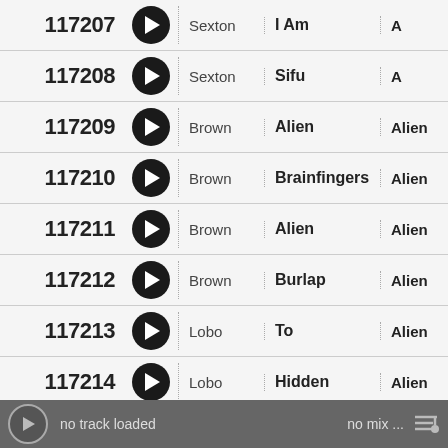| ID |  | Artist | Title | Album | Extra |
| --- | --- | --- | --- | --- | --- |
| 117207 | ▶ | Sexton | I Am | A |  |
| 117208 | ▶ | Sexton | Sifu | A | Roc |
| 117209 | ▶ | Brown | Alien | Alien |  |
| 117210 | ▶ | Brown | Brainfingers | Alien |  |
| 117211 | ▶ | Brown | Alien | Alien |  |
| 117212 | ▶ | Brown | Burlap | Alien | Ele |
| 117213 | ▶ | Lobo | To | Alien | Jazz, |
| 117214 | ▶ | Lobo | Hidden | Alien | Se |
no track loaded    no mix ...